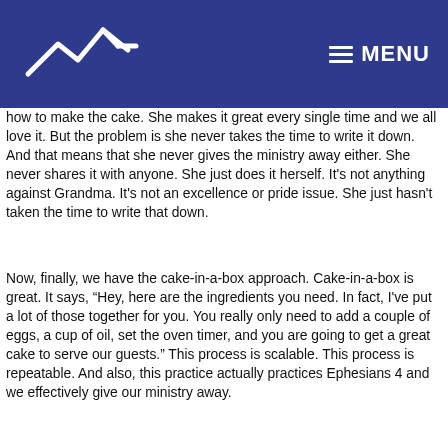MENU
how to make the cake. She makes it great every single time and we all love it. But the problem is she never takes the time to write it down. And that means that she never gives the ministry away either. She never shares it with anyone. She just does it herself. It's not anything against Grandma. It's not an excellence or pride issue. She just hasn't taken the time to write that down.
Now, finally, we have the cake-in-a-box approach. Cake-in-a-box is great. It says, “Hey, here are the ingredients you need. In fact, I've put a lot of those together for you. You really only need to add a couple of eggs, a cup of oil, set the oven timer, and you are going to get a great cake to serve our guests.” This process is scalable. This process is repeatable. And also, this practice actually practices Ephesians 4 and we effectively give our ministry away.
So now that you understand the importance of ministry processes and your ability to give the ministry away, what are you going to do about it?